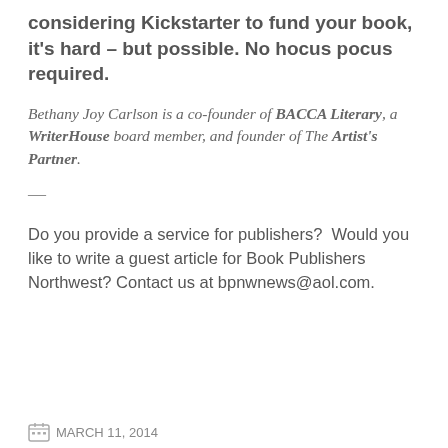considering Kickstarter to fund your book, it's hard – but possible. No hocus pocus required.
Bethany Joy Carlson is a co-founder of BACCA Literary, a WriterHouse board member, and founder of The Artist's Partner.
—
Do you provide a service for publishers?  Would you like to write a guest article for Book Publishers Northwest? Contact us at bpnwnews@aol.com.
MARCH 11, 2014